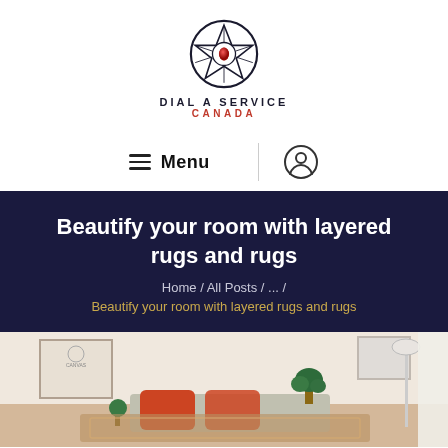[Figure (logo): Dial A Service Canada logo — geometric diamond/star shape with red center, text DIAL A SERVICE CANADA]
≡ Menu | (user icon)
Beautify your room with layered rugs and rugs
Home / All Posts / ... / Beautify your room with layered rugs and rugs
[Figure (photo): Interior room photo showing a living area with orange cushions, plants, a framed poster on the wall, and a floor lamp — layered rugs visible on floor]